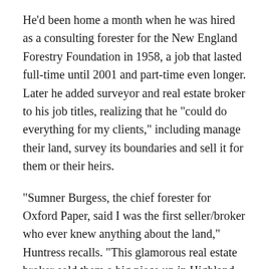He'd been home a month when he was hired as a consulting forester for the New England Forestry Foundation in 1958, a job that lasted full-time until 2001 and part-time even longer. Later he added surveyor and real estate broker to his job titles, realizing that he "could do everything for my clients," including manage their land, survey its boundaries and sell it for them or their heirs.
"Sumner Burgess, the chief forester for Oxford Paper, said I was the first seller/broker who ever knew anything about the land," Huntress recalls. "This glamorous real estate broker sold them a big piece up in Highland Plantation and he said, 'She's better looking than you are, but she didn't even set foot on the land.'"
His real estate commissions allowed him to buy land of his own, something he advises every forester to do, if only to learn about consequences.